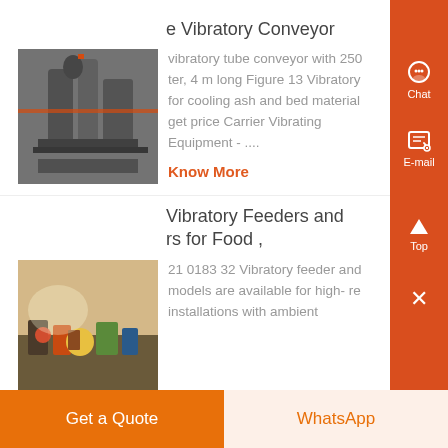e Vibratory Conveyor
vibratory tube conveyor with 250 ter, 4 m long Figure 13 Vibratory for cooling ash and bed material get price Carrier Vibrating Equipment - ....
Know More
[Figure (photo): Industrial vibratory conveyor equipment installed in a facility]
Vibratory Feeders and rs for Food ,
21 0183 32 Vibratory feeder and models are available for high- re installations with ambient
[Figure (photo): Food processing vibratory feeders with various products on a conveyor surface]